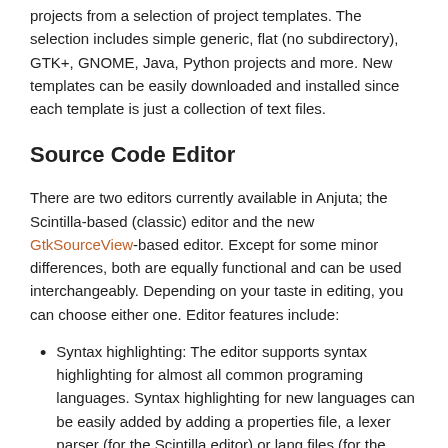projects from a selection of project templates. The selection includes simple generic, flat (no subdirectory), GTK+, GNOME, Java, Python projects and more. New templates can be easily downloaded and installed since each template is just a collection of text files.
Source Code Editor
There are two editors currently available in Anjuta; the Scintilla-based (classic) editor and the new GtkSourceView-based editor. Except for some minor differences, both are equally functional and can be used interchangeably. Depending on your taste in editing, you can choose either one. Editor features include:
Syntax highlighting: The editor supports syntax highlighting for almost all common programing languages. Syntax highlighting for new languages can be easily added by adding a properties file, a lexer parser (for the Scintilla editor) or lang files (for the GtkSourceView editor).
Smart Indentation: Code is automatically indented as you type based on the language and your indentation settings. (Smart